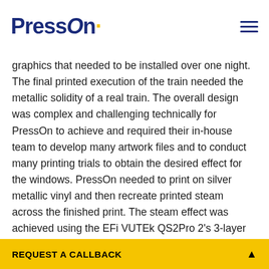PressOn logo and navigation
graphics that needed to be installed over one night. The final printed execution of the train needed the metallic solidity of a real train. The overall design was complex and challenging technically for PressOn to achieve and required their in-house team to develop many artwork files and to conduct many printing trials to obtain the desired effect for the windows. PressOn needed to print on silver metallic vinyl and then recreate printed steam across the finished print. The steam effect was achieved using the EFi VUTEk QS2Pro 2's 3-layer ink capability. PressOn printed different densities of white ink on metallic sections of the train to achieve the effect of steam. The main
We use cookies to ensure that we give you the best experience on our website.
REQUEST A CALLBACK